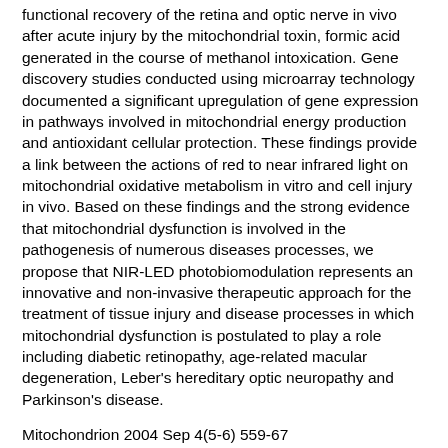functional recovery of the retina and optic nerve in vivo after acute injury by the mitochondrial toxin, formic acid generated in the course of methanol intoxication. Gene discovery studies conducted using microarray technology documented a significant upregulation of gene expression in pathways involved in mitochondrial energy production and antioxidant cellular protection. These findings provide a link between the actions of red to near infrared light on mitochondrial oxidative metabolism in vitro and cell injury in vivo. Based on these findings and the strong evidence that mitochondrial dysfunction is involved in the pathogenesis of numerous diseases processes, we propose that NIR-LED photobiomodulation represents an innovative and non-invasive therapeutic approach for the treatment of tissue injury and disease processes in which mitochondrial dysfunction is postulated to play a role including diabetic retinopathy, age-related macular degeneration, Leber's hereditary optic neuropathy and Parkinson's disease.
Mitochondrion 2004 Sep 4(5-6) 559-67
http://www.ncbi.nlm.nih.gov/entrez/query.fcgi?cmd=Retrieve&db=PubMed&dopt=Citation&list_uids=16120414
Therapeutic photobiomodulation for methanol-induced retinal